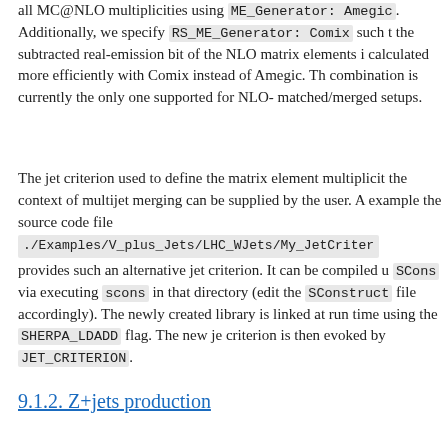all MC@NLO multiplicities using ME_Generator: Amegic. Additionally, we specify RS_ME_Generator: Comix such that the subtracted real-emission bit of the NLO matrix elements is calculated more efficiently with Comix instead of Amegic. This combination is currently the only one supported for NLO-matched/merged setups.
The jet criterion used to define the matrix element multiplicity in the context of multijet merging can be supplied by the user. As an example the source code file ./Examples/V_plus_Jets/LHC_WJets/My_JetCriterion.C provides such an alternative jet criterion. It can be compiled using SCons via executing scons in that directory (edit the SConstruct file accordingly). The newly created library is linked at run time using the SHERPA_LDADD flag. The new jet criterion is then evoked by JET_CRITERION.
9.1.2. Z+jets production